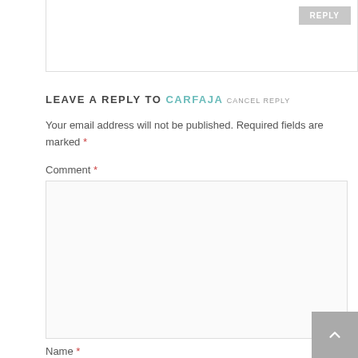LEAVE A REPLY TO CARFAJA CANCEL REPLY
Your email address will not be published. Required fields are marked *
Comment *
Name *